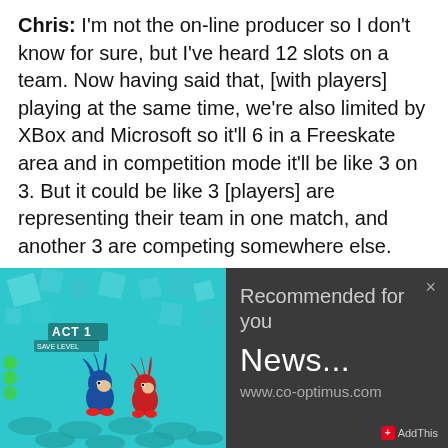Chris: I'm not the on-line producer so I don't know for sure, but I've heard 12 slots on a team. Now having said that, [with players] playing at the same time, we're also limited by XBox and Microsoft so it'll 6 in a Freeskate area and in competition mode it'll be like 3 on 3. But it could be like 3 [players] are representing their team in one match, and another 3 are competing somewhere else.
We'd like to thank Chris again for sitting down and talking with us about this upcoming title, as well as thank Ron Yatco and Josh Kline for setting up and inviting us to the
[Figure (screenshot): Screenshot of a Sonic the Hedgehog game showing Sonic and another character in a teal/blue 3D environment with geometric shapes. UI shows ACT 1 and SAVE LEVEL labels.]
Recommended for you
News...
www.co-optimus.com